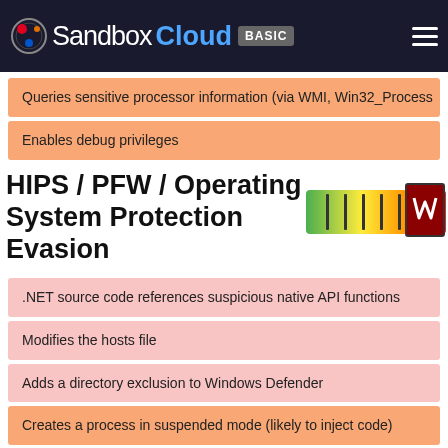JoeSandbox Cloud BASIC
Queries sensitive processor information (via WMI, Win32_Process…
Enables debug privileges
HIPS / PFW / Operating System Protection Evasion
[Figure (infographic): Severity meter bar showing gradient from green to red with dark red highlighted segment]
.NET source code references suspicious native API functions
Modifies the hosts file
Adds a directory exclusion to Windows Defender
Creates a process in suspended mode (likely to inject code)
Queries the volume information (name, serial number etc) of a dev…
Lowering of HIPS / PFW / Operating System Security Settings
[Figure (infographic): Severity meter bar showing gradient from green to red with dark red highlighted segment]